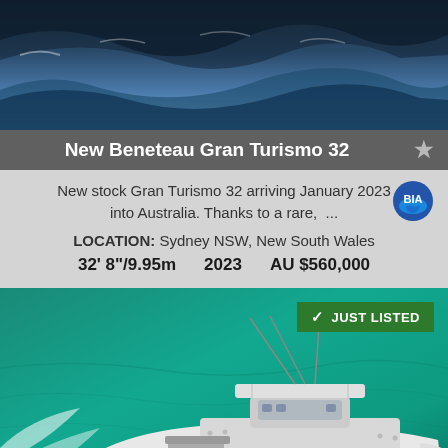[Figure (photo): Aerial view of dark blue ocean waves]
New Beneteau Gran Turismo 32
New stock Gran Turismo 32 arriving January 2023 into Australia. Thanks to a rare, ...
LOCATION:  Sydney NSW, New South Wales
32' 8"/9.95m    2023    AU $560,000
[Figure (photo): Aerial view of a white center-console fishing boat on turquoise water with a JUST LISTED badge]